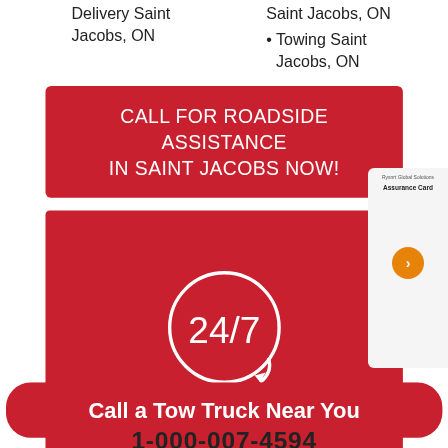Delivery Saint Jacobs, ON
Saint Jacobs, ON
Towing Saint Jacobs, ON
CALL FOR ROADSIDE ASSISTANCE IN SAINT JACOBS NOW!
[Figure (other): 24/7 roadside assistance circular logo with arrow on red background]
Call a Tow Truck Near You
1-000-007-4594